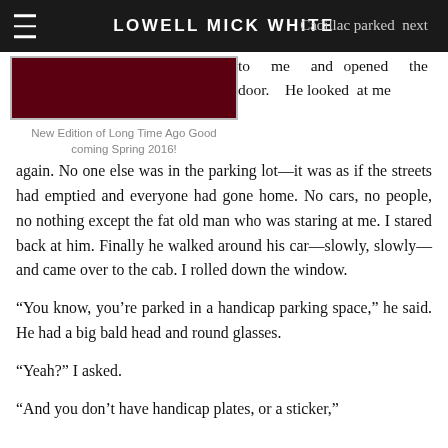LOWELL MICK WHITE
[Figure (photo): Dark red/maroon image at top left, partially cropped]
New Edition of Long Time Ago Good coming Spring 2016!
Cadillac parked next to me and opened the door. He looked at me again. No one else was in the parking lot—it was as if the streets had emptied and everyone had gone home. No cars, no people, no nothing except the fat old man who was staring at me. I stared back at him. Finally he walked around his car—slowly, slowly—and came over to the cab. I rolled down the window.
“You know, you’re parked in a handicap parking space,” he said. He had a big bald head and round glasses.
“Yeah?” I asked.
“And you don’t have handicap plates, or a sticker,”